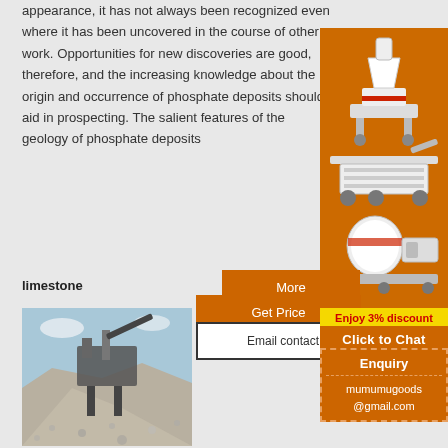appearance, it has not always been recognized even where it has been uncovered in the course of other work. Opportunities for new discoveries are good, therefore, and the increasing knowledge about the origin and occurrence of phosphate deposits should aid in prospecting. The salient features of the geology of phosphate deposits
[Figure (photo): Mining/crushing machinery equipment displayed on orange background — vertical shaft impact crusher, mobile screening plant, and ball mill industrial equipment]
More
Get Price
limestone
Email contact
Enjoy 3% discount
Click to Chat
Enquiry
mumumugoods@gmail.com
[Figure (photo): Outdoor photo of industrial aggregate/limestone crushing and screening plant with large piles of crushed stone/gravel in the foreground and machinery in the background under a blue sky]